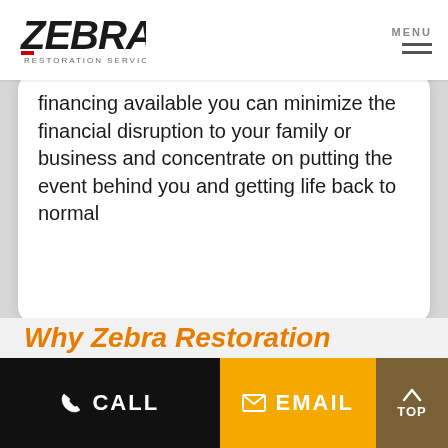[Figure (logo): Zebra Restoration Services logo — bold black and red ZEBRA text with restoration services below]
financing available you can minimize the financial disruption to your family or business and concentrate on putting the event behind you and getting life back to normal
Why Zebra Restoration
CALL   EMAIL   TOP